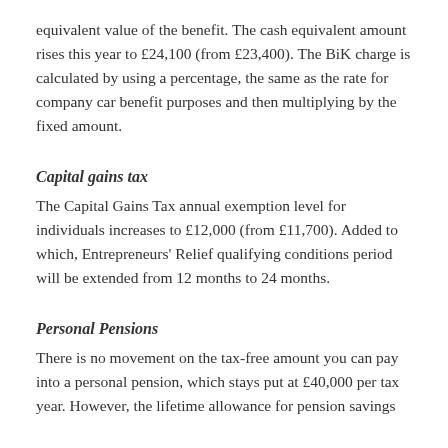equivalent value of the benefit. The cash equivalent amount rises this year to £24,100 (from £23,400). The BiK charge is calculated by using a percentage, the same as the rate for company car benefit purposes and then multiplying by the fixed amount.
Capital gains tax
The Capital Gains Tax annual exemption level for individuals increases to £12,000 (from £11,700). Added to which, Entrepreneurs' Relief qualifying conditions period will be extended from 12 months to 24 months.
Personal Pensions
There is no movement on the tax-free amount you can pay into a personal pension, which stays put at £40,000 per tax year. However, the lifetime allowance for pension savings